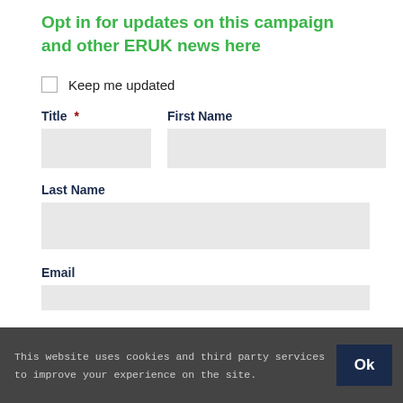Opt in for updates on this campaign and other ERUK news here
Keep me updated
Title *
First Name
Last Name
Email
This website uses cookies and third party services to improve your experience on the site.